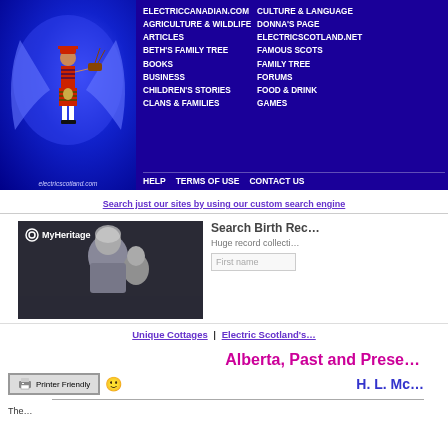[Figure (screenshot): ElectricScotland.com website header with navigation links on blue background. Left side shows a Scottish bagpiper figure with electricscotland.com text. Navigation links include: ELECTRICCANADIAN.COM, AGRICULTURE & WILDLIFE, ARTICLES, BETH'S FAMILY TREE, BOOKS, BUSINESS, CHILDREN'S STORIES, CLANS & FAMILIES on the left column, and CULTURE & LANGUAGE, DONNA'S PAGE, ELECTRICSCOTLAND.NET, FAMOUS SCOTS, FAMILY TREE, FORUMS, FOOD & DRINK, GAMES on the right column. Bottom bar shows HELP, TERMS OF USE, CONTACT US.]
Search just our sites by using our custom search engine
[Figure (screenshot): MyHeritage advertisement banner showing a black and white photo of a woman and child. Text reads: Search Birth Records. Huge record collection. First name input field.]
Unique Cottages | Electric Scotland's Classifieds
Alberta, Past and Present
[Figure (other): Printer Friendly button with printer icon and smiley emoji]
H. L. Mc
The...